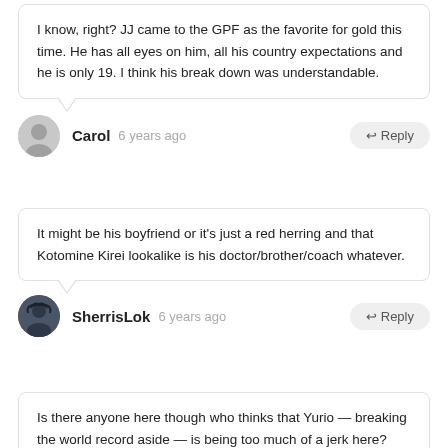I know, right? JJ came to the GPF as the favorite for gold this time. He has all eyes on him, all his country expectations and he is only 19. I think his break down was understandable.
Carol  6 years ago
It might be his boyfriend or it's just a red herring and that Kotomine Kirei lookalike is his doctor/brother/coach whatever.
SherrisLok  6 years ago
Is there anyone here though who thinks that Yurio — breaking the world record aside — is being too much of a jerk here? He's continuing to put down Yuri for no good reason, and I'm